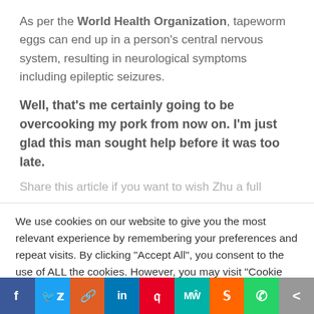As per the World Health Organization, tapeworm eggs can end up in a person's central nervous system, resulting in neurological symptoms including epileptic seizures.
Well, that's me certainly going to be overcooking my pork from now on. I'm just glad this man sought help before it was too late.
Share this article if you want to wish Zhu a full
We use cookies on our website to give you the most relevant experience by remembering your preferences and repeat visits. By clicking "Accept All", you consent to the use of ALL the cookies. However, you may visit "Cookie Settings" to provide a controlled consent.